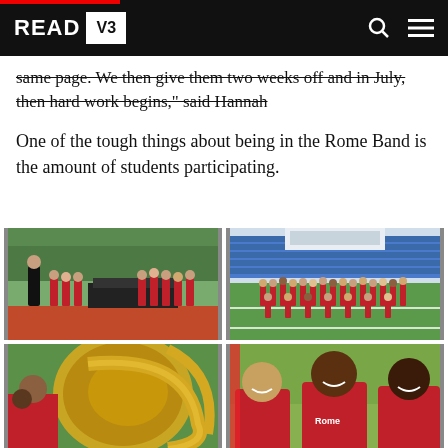READ V3
same page. We then give them two weeks off and in July, then hard work begins," said Hannah
One of the tough things about being in the Rome Band is the amount of students participating.
[Figure (photo): Band instructor standing on track, students with percussion instruments lined up on field]
[Figure (photo): Large group of band students in red shirts gathered in a circle on a football field with stadium bleachers in background]
[Figure (photo): Close-up of students playing large brass instruments (sousaphones/tubas) in red uniforms]
[Figure (photo): Three smiling band students in red Rome shirts standing together at an outdoor event]